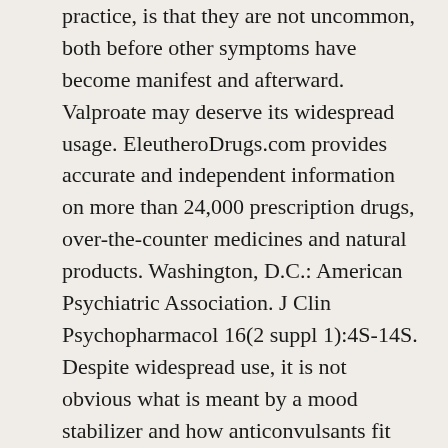practice, is that they are not uncommon, both before other symptoms have become manifest and afterward. Valproate may deserve its widespread usage. EleutheroDrugs.com provides accurate and independent information on more than 24,000 prescription drugs, over-the-counter medicines and natural products. Washington, D.C.: American Psychiatric Association. J Clin Psychopharmacol 16(2 suppl 1):4S-14S. Despite widespread use, it is not obvious what is meant by a mood stabilizer and how anticonvulsants fit that description. Of course, it does not help that locally the standard regimen resulting from these hospitalizations seems to also include Zyprexa (olanzapine). You can take them alone or with mood stabilizers to ... But if there is no family history, a case can be made to hold back on